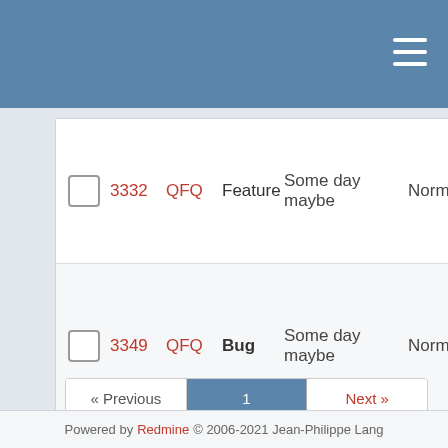|  | # | Project | Tracker | Target version | Priority | Subject |
| --- | --- | --- | --- | --- | --- | --- |
| ☐ | 3332 | QFQ | Feature | Some day maybe | Normal | Up
Th
De
ho
Fil |
| ☐ | 3349 | QFQ | Bug | Some day maybe | Normal | co
ve
im
Pa
Va
tio
se |
« Previous   1   Next »
(1-25/562) Per page: 25, 50, 100
Also available in: Atom | CSV | PDF
Powered by Redmine © 2006-2021 Jean-Philippe Lang